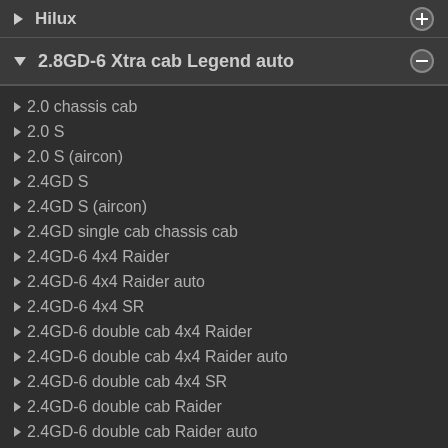Hilux
2.8GD-6 Xtra cab Legend auto
2.0 chassis cab
2.0 S
2.0 S (aircon)
2.4GD S
2.4GD S (aircon)
2.4GD single cab chassis cab
2.4GD-6 4x4 Raider
2.4GD-6 4x4 Raider auto
2.4GD-6 4x4 SR
2.4GD-6 double cab 4x4 Raider
2.4GD-6 double cab 4x4 Raider auto
2.4GD-6 double cab 4x4 SR
2.4GD-6 double cab Raider
2.4GD-6 double cab Raider auto
2.4GD-6 double cab SR
2.4GD-6 Raider
2.4GD-6 Raider auto
2.4GD-6 single cab chassis cab 4x4
2.4GD-6 SR